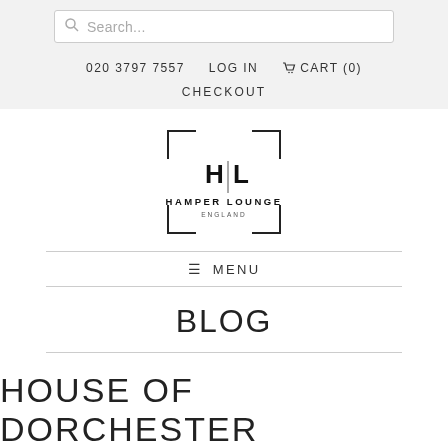Search...  020 3797 7557  LOG IN  CART (0)  CHECKOUT
[Figure (logo): Hamper Lounge England logo with H|L monogram inside a bracket frame]
≡  MENU
BLOG
HOUSE OF DORCHESTER